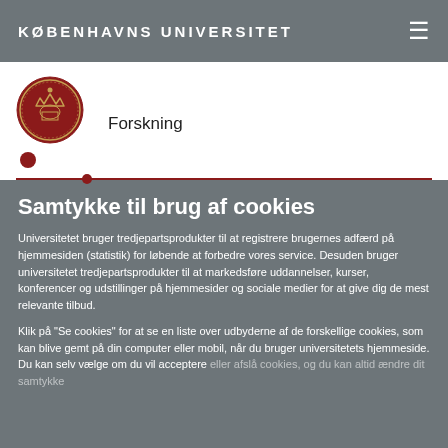KØBENHAVNS UNIVERSITET
[Figure (logo): University of Copenhagen circular red seal/crest logo]
Forskning
Samtykke til brug af cookies
Universitetet bruger tredjepartsprodukter til at registrere brugernes adfærd på hjemmesiden (statistik) for løbende at forbedre vores service. Desuden bruger universitetet tredjepartsprodukter til at markedsføre uddannelser, kurser, konferencer og udstillinger på hjemmesider og sociale medier for at give dig de mest relevante tilbud.
Klik på "Se cookies" for at se en liste over udbyderne af de forskellige cookies, som kan blive gemt på din computer eller mobil, når du bruger universitetets hjemmeside. Du kan selv vælge om du vil acceptere eller afslå cookies, og du kan altid ændre dit samtykke